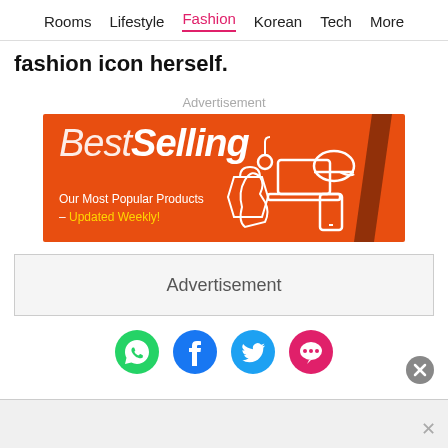Rooms  Lifestyle  Fashion  Korean  Tech  More
fashion icon herself.
Advertisement
[Figure (illustration): Best Selling banner ad on orange background with product icons (laptop, cap, bag, phone) and text 'Our Most Popular Products – Updated Weekly!']
Advertisement
[Figure (other): Social sharing icons: WhatsApp (green), Facebook (dark blue), Twitter (light blue), Chat/comments (pink)]